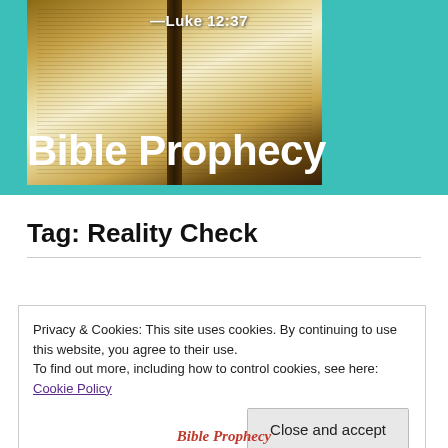[Figure (photo): Open Bible book photograph on dark background, with teal/green header background. Text overlay '—Luke 12:37' in white bold on the right side of the image.]
Bible Prophecy
Tag: Reality Check
Privacy & Cookies: This site uses cookies. By continuing to use this website, you agree to their use.
To find out more, including how to control cookies, see here: Cookie Policy
Close and accept
Bible Prophecy